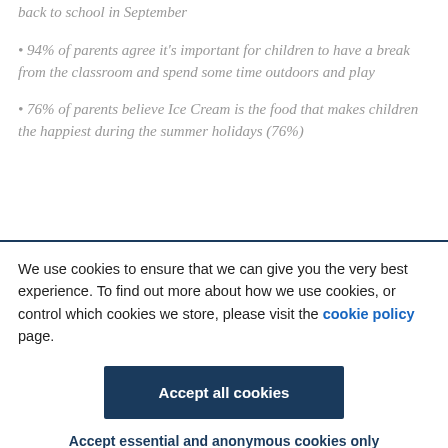back to school in September
• 94% of parents agree it's important for children to have a break from the classroom and spend some time outdoors and play
• 76% of parents believe Ice Cream is the food that makes children the happiest during the summer holidays (76%)
We use cookies to ensure that we can give you the very best experience. To find out more about how we use cookies, or control which cookies we store, please visit the cookie policy page.
Accept all cookies
Accept essential and anonymous cookies only